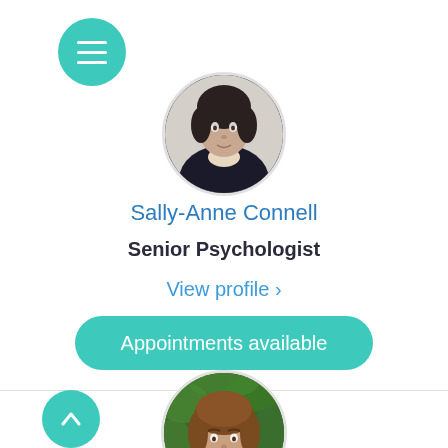[Figure (other): Teal circular menu/hamburger button in top-left area]
[Figure (photo): Circular profile photo of Sally-Anne Connell, woman in dark jacket, partial view cropped from top]
Sally-Anne Connell
Senior Psychologist
View profile >
Appointments available
[Figure (other): Teal circular back-to-top arrow button in lower left]
[Figure (photo): Circular profile photo of second psychologist, woman with brown hair, outdoors with green foliage background, partially cropped at bottom]